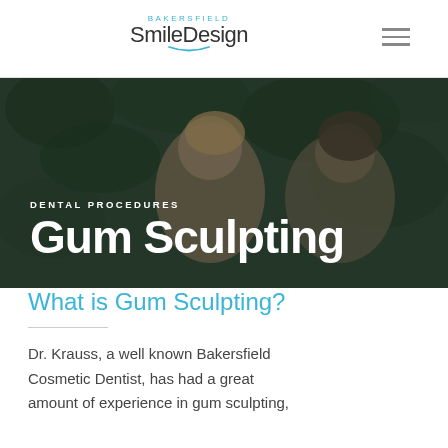[Figure (logo): Bakersfield SmileDesign logo with arc underline]
[Figure (photo): Two young women lying on grass laughing, with dark overlay. Text overlay reads 'DENTAL PROCEDURES' and 'Gum Sculpting']
What is Gum Sculpting?
Dr. Krauss, a well known Bakersfield Cosmetic Dentist, has had a great amount of experience in gum sculpting,